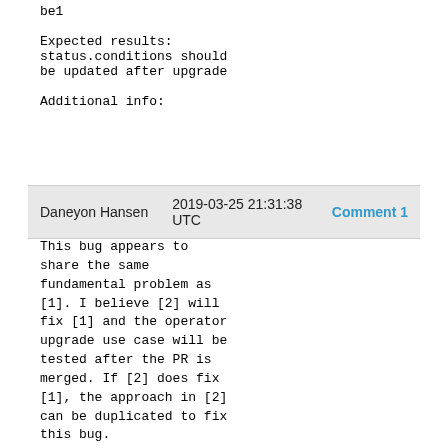be1

Expected results:
status.conditions should
be updated after upgrade

Additional info:
Daneyon Hansen    2019-03-25 21:31:38 UTC    Comment 1
This bug appears to share the same fundamental problem as [1]. I believe [2] will fix [1] and the operator upgrade use case will be tested after the PR is merged. If [2] does fix [1], the approach in [2] can be duplicated to fix this bug.

[1]
https://bugzilla.redhat.com/show_bug.cgi?id=1690323